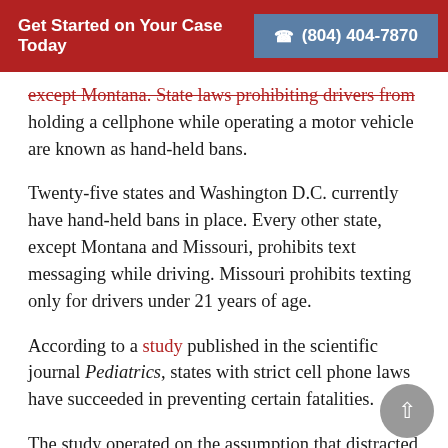Get Started on Your Case Today | (804) 404-7870
except Montana. State laws prohibiting drivers from holding a cellphone while operating a motor vehicle are known as hand-held bans.
Twenty-five states and Washington D.C. currently have hand-held bans in place. Every other state, except Montana and Missouri, prohibits text messaging while driving. Missouri prohibits texting only for drivers under 21 years of age.
According to a study published in the scientific journal Pediatrics, states with strict cell phone laws have succeeded in preventing certain fatalities.
The study operated on the assumption that distracted driving increases the risk of car accidents, especially in teenagers. With that in mind, researchers evaluated how